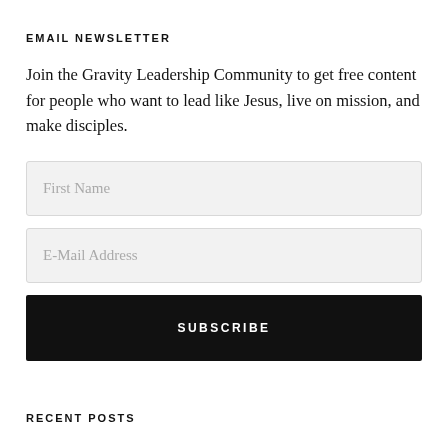EMAIL NEWSLETTER
Join the Gravity Leadership Community to get free content for people who want to lead like Jesus, live on mission, and make disciples.
First Name
E-Mail Address
SUBSCRIBE
RECENT POSTS